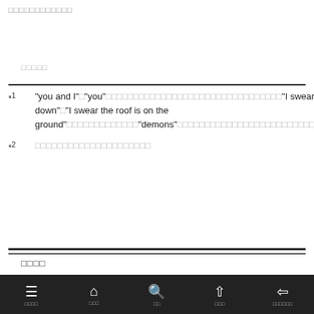□□□□□□□□□□□□
□□□□□
*1  "you and I"□"you"□□□□□□□□□□□□□□□□□□□□□□□□□□□□□□□□"I swear these walls are upside down"□"I swear the roof is on the ground"□□□□□□□□□□□□□"demons"□□□□□□□□□□□□□□□□□□□□□□□□□□□□□□□□
*2  □□□□□□□□□□□□□□□□□□□□□
□□□□
≡ □□□□  ⌂ □□□  🔍 □□  ↑ □□□  ◀≡ □□□□□□